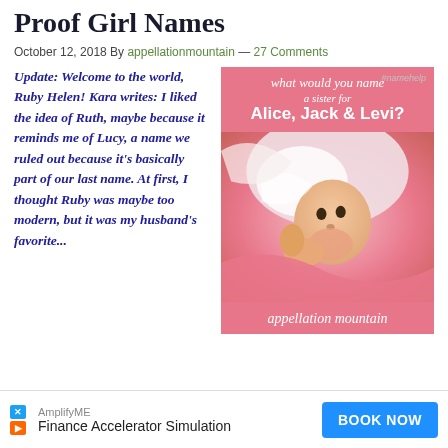Proof Girl Names
October 12, 2018 By appellationmountain — 27 Comments
Update: Welcome to the world, Ruby Helen! Kara writes: I liked the idea of Ruth, maybe because it reminds me of Lucy, a name we ruled out because it's basically part of our last name. At first, I thought Ruby was maybe too modern, but it was my husband's favorite...
[Figure (infographic): Pink banner with text 'what would you name a sister for Alice, Jack & Levi?' above a baby photo, with 'appellation mountain' footer. Has #namehelp tag in top right.]
AmplifyME Finance Accelerator Simulation BOOK NOW